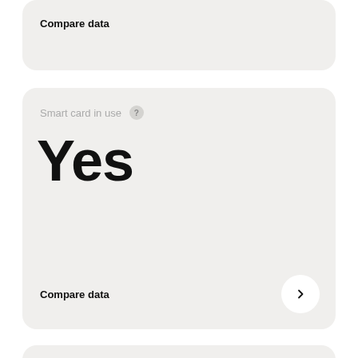Compare data
Smart card in use
Yes
Compare data